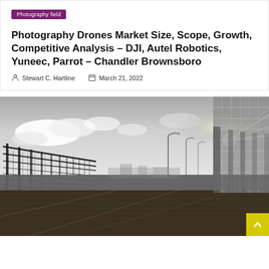Photography field
Photography Drones Market Size, Scope, Growth, Competitive Analysis – DJI, Autel Robotics, Yuneec, Parrot – Chandler Brownsboro
Stewart C. Hartline   March 21, 2022
[Figure (photo): Black and white aerial/ground-level photograph of a bridge or elevated roadway with metal railing fences on the left, large glass-paneled building on the right with sunburst, street lamps in the distance, and wooden deck surface in the foreground. Dramatic sky with clouds.]